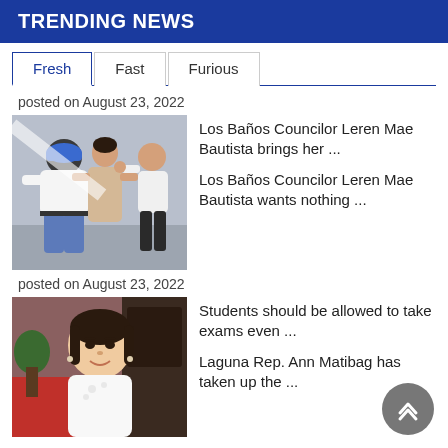TRENDING NEWS
Fresh | Fast | Furious
posted on August 23, 2022
[Figure (photo): Two people adjusting makeup or styling a woman in a beige outfit]
Los Baños Councilor Leren Mae Bautista brings her ...
Los Baños Councilor Leren Mae Bautista wants nothing ...
posted on August 23, 2022
[Figure (photo): Young woman in white outfit smiling, with red and dark background]
Students should be allowed to take exams even ...
Laguna Rep. Ann Matibag has taken up the ...